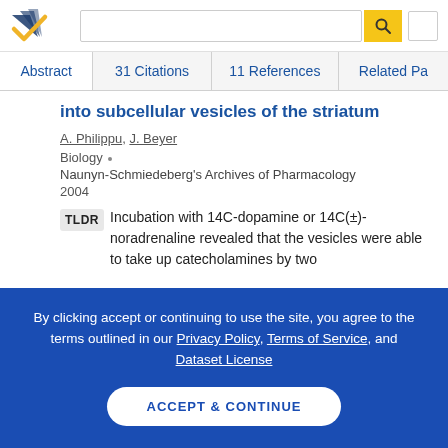[Figure (logo): Semantic Scholar logo with navy and gold checkmark/wing design]
Abstract | 31 Citations | 11 References | Related Pa...
into subcellular vesicles of the striatum
A. Philippu, J. Beyer
Biology · Naunyn-Schmiedeberg's Archives of Pharmacology 2004
TLDR Incubation with 14C-dopamine or 14C(±)-noradrenaline revealed that the vesicles were able to take up catecholamines by two
By clicking accept or continuing to use the site, you agree to the terms outlined in our Privacy Policy, Terms of Service, and Dataset License
ACCEPT & CONTINUE